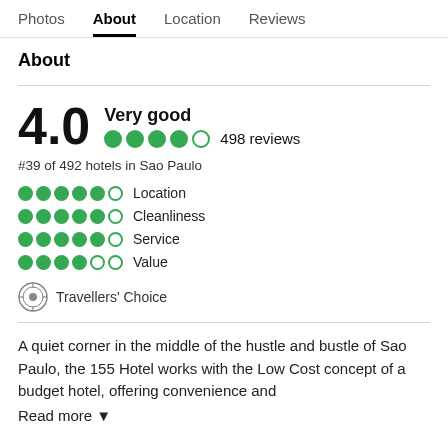Photos  About  Location  Reviews
About
4.0 Very good  ●●●●○  498 reviews
#39 of 492 hotels in Sao Paulo
●●●●●○  Location
●●●●●○  Cleanliness
●●●●●○  Service
●●●●○○  Value
Travellers' Choice
A quiet corner in the middle of the hustle and bustle of Sao Paulo, the 155 Hotel works with the Low Cost concept of a budget hotel, offering convenience and
Read more ▼